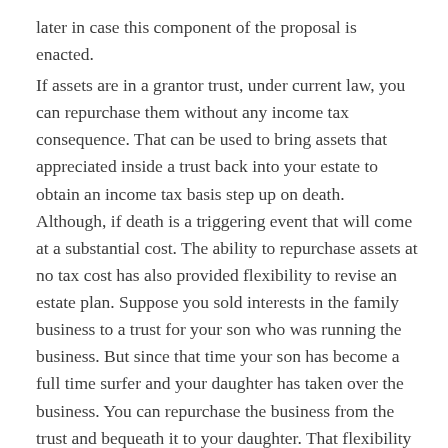later in case this component of the proposal is enacted.
If assets are in a grantor trust, under current law, you can repurchase them without any income tax consequence. That can be used to bring assets that appreciated inside a trust back into your estate to obtain an income tax basis step up on death. Although, if death is a triggering event that will come at a substantial cost. The ability to repurchase assets at no tax cost has also provided flexibility to revise an estate plan. Suppose you sold interests in the family business to a trust for your son who was running the business. But since that time your son has become a full time surfer and your daughter has taken over the business. You can repurchase the business from the trust and bequeath it to your daughter. That flexibility could be eliminated with the proposed change. So while it is uncertain, and perhaps unlikely, that these changes may